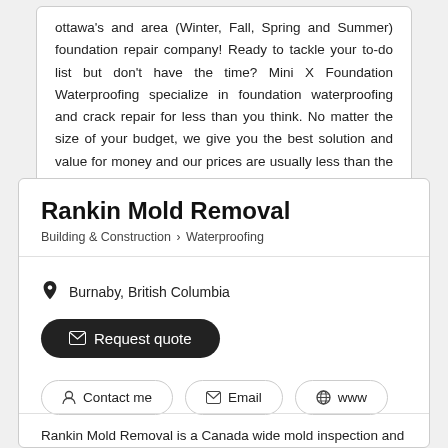ottawa's and area (Winter, Fall, Spring and Summer) foundation repair company! Ready to tackle your to-do list but don't have the time? Mini X Foundation Waterproofing specialize in foundation waterproofing and crack repair for less than you think. No matter the size of your budget, we give you the best solution and value for money and our prices are usually less than the competition. We look forward to helping you make your home a great place to live. We guarantee our repairs on foundations... Read more
Rankin Mold Removal
Building & Construction › Waterproofing
Burnaby, British Columbia
Request quote
Contact me
Email
www
Rankin Mold Removal is a Canada wide mold inspection and